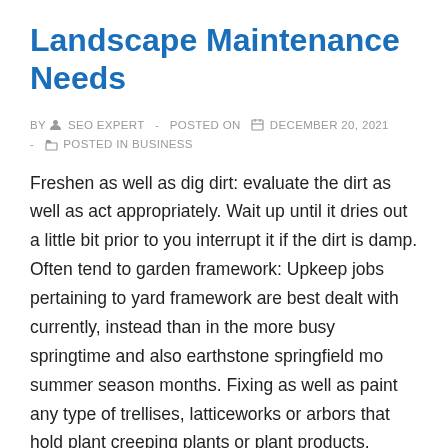Landscape Maintenance Needs
BY  SEO EXPERT  -  POSTED ON  DECEMBER 20, 2021  -   POSTED IN BUSINESS
Freshen as well as dig dirt: evaluate the dirt as well as act appropriately. Wait up until it dries out a little bit prior to you interrupt it if the dirt is damp. Often tend to garden framework: Upkeep jobs pertaining to yard framework are best dealt with currently, instead than in the more busy springtime and also earthstone springfield mo summer season months. Fixing as well as paint any type of trellises, latticeworks or arbors that hold plant creeping plants or plant products. Cover the dirt bordering your plants with even more natural